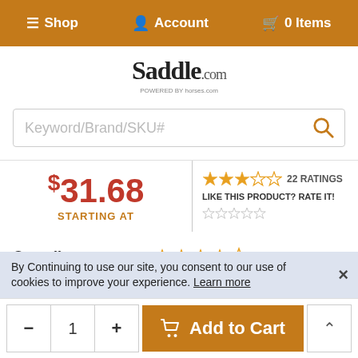Shop  Account  0 Items
[Figure (logo): Saddle.com logo with 'POWERED BY' tagline]
Keyword/Brand/SKU#
$31.68 STARTING AT  ★★★☆☆ 22 RATINGS  LIKE THIS PRODUCT? RATE IT!
| Category | Rating |
| --- | --- |
| Overall: | 4 out of 5 stars |
| Quality: | 4 out of 5 stars |
| Price: | 5 out of 5 stars |
| Pet Approval: | 4 out of 5 stars |
By Continuing to use our site, you consent to our use of cookies to improve your experience. Learn more
- 1 + Add to Cart